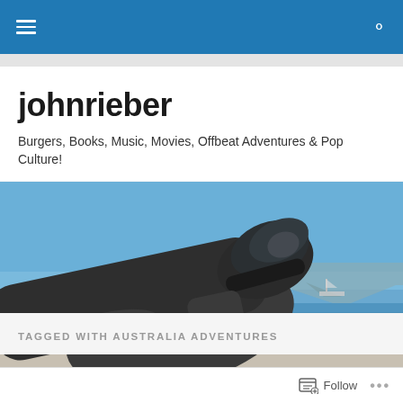johnrieber blog navigation bar with hamburger menu and search icon
johnrieber
Burgers, Books, Music, Movies, Offbeat Adventures & Pop Culture!
[Figure (photo): A metallic sculpture of a reclining figure with legs/sneakers in the foreground, overlooking a blue ocean with a mountain, sailboat, and yacht in the background under a clear blue sky.]
TAGGED WITH AUSTRALIA ADVENTURES
Follow ...